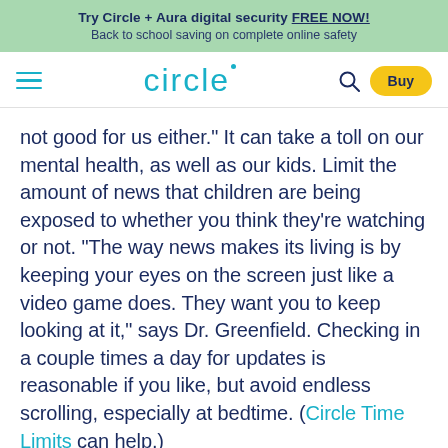Try Circle + Aura digital security FREE NOW! Back to school saving on complete online safety
[Figure (logo): Circle navigation bar with hamburger menu, circle logo, search icon, and Buy button]
not good for us either." It can take a toll on our mental health, as well as our kids. Limit the amount of news that children are being exposed to whether you think they're watching or not. "The way news makes its living is by keeping your eyes on the screen just like a video game does. They want you to keep looking at it," says Dr. Greenfield. Checking in a couple times a day for updates is reasonable if you like, but avoid endless scrolling, especially at bedtime. (Circle Time Limits can help.)